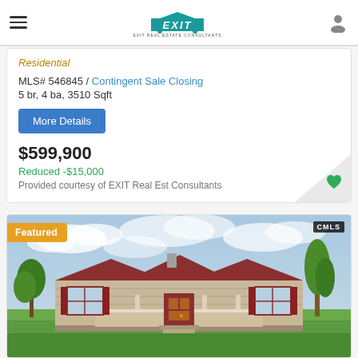EXIT Real Estate Consultants
Residential
MLS# 546845 / Contingent Sale Closing
5 br, 4 ba, 3510 Sqft
More Details
$599,900
Reduced -$15,000
Provided courtesy of EXIT Real Est Consultants
[Figure (photo): Featured listing photo of a single-story ranch house with red roof and front porch, green lawn, trees, cloudy sky. Labeled 'Featured' with CMLS watermark.]